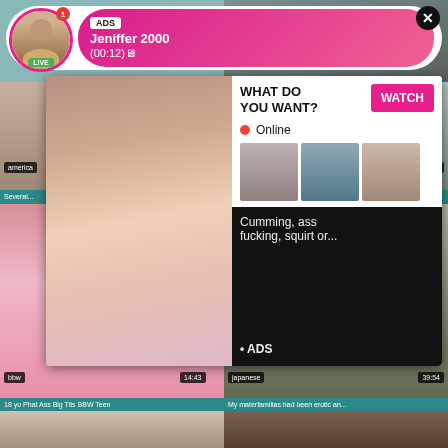[Figure (screenshot): Adult video website screenshot with ad popup overlay showing 'Jeniffer 2000' LIVE ad banner, a video overlay with 'WHAT DO YOU WANT? WATCH' button, Online status, thumbnail previews, and text 'Cumming, ass fucking, squirt or... ADS'. Background shows video thumbnails with tags 'america', 'bbw', 'japanese' and durations '12:24', '14:43', '39:54'. Bottom titles: '18 yo Phat Ass Big Tits BBW Teen' and 'My materfamilias had been erotic an'. Bottom row shows two more video thumbnails.]